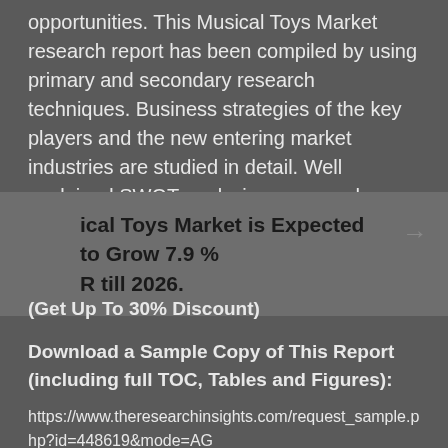opportunities. This Musical Toys Market research report has been compiled by using primary and secondary research techniques. Business strategies of the key players and the new entering market industries are studied in detail. Well explained SWOT analysis, revenue share and contact information are shared in this report ---lysis.
ical Toys Market is Expected to Grow 7.9 % R till 2026.
(Get Up To 30% Discount)
Download a Sample Copy of This Report (including full TOC, Tables and Figures):
https://www.theresearchinsights.com/request_sample.php?id=448619&mode=AG